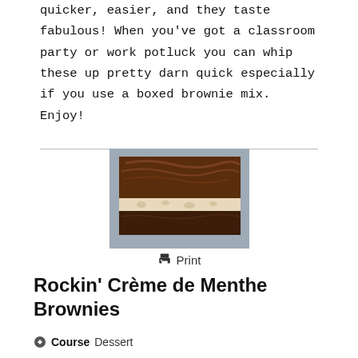quicker, easier, and they taste fabulous! When you've got a classroom party or work potluck you can whip these up pretty darn quick especially if you use a boxed brownie mix. Enjoy!
[Figure (photo): A square brownie piece with chocolate frosting on top and a white creamy layer in the middle, sitting on a white plate.]
Print
Rockin’ Crème de Menthe Brownies
Course Dessert